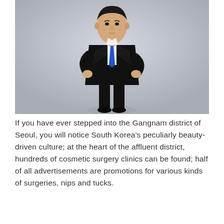[Figure (photo): A young Asian man in a dark suit with a blue tie, arms crossed, standing against a light grey background.]
If you have ever stepped into the Gangnam district of Seoul, you will notice South Korea's peculiarly beauty-driven culture; at the heart of the affluent district, hundreds of cosmetic surgery clinics can be found; half of all advertisements are promotions for various kinds of surgeries, nips and tucks.